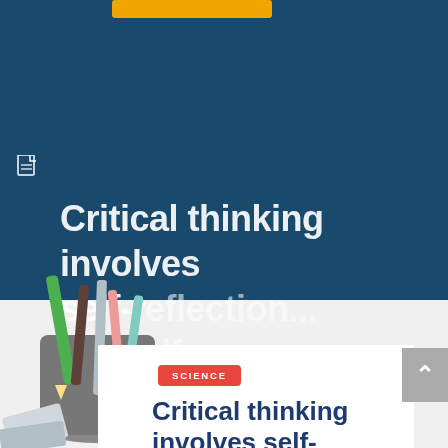[Figure (screenshot): Dark blue background with yellow/orange button at top, document icon, and overlaid large white bold text reading 'Critical thinking involves self-reflection... the self... began t...' partially visible]
[Figure (photo): Photo of tools including pencils, brushes, and other items in a container, overlapping the lower portion of the dark blue background and the light gray section]
SCIENCE
Critical thinking involves self-reflection... Ma...